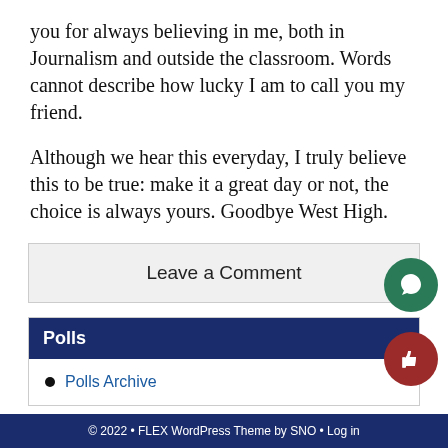you for always believing in me, both in Journalism and outside the classroom. Words cannot describe how lucky I am to call you my friend.
Although we hear this everyday, I truly believe this to be true: make it a great day or not, the choice is always yours. Goodbye West High.
Leave a Comment
Polls
Polls Archive
© 2022 • FLEX WordPress Theme by SNO • Log in